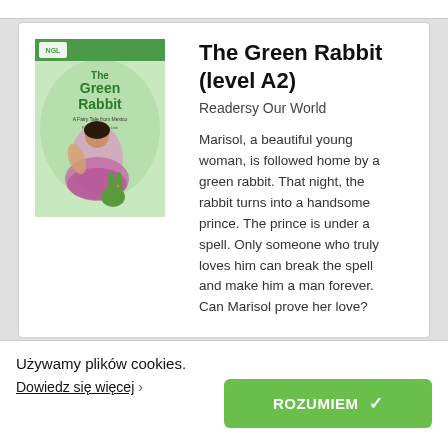The Green Rabbit (level A2)
Readersy Our World
Marisol, a beautiful young woman, is followed home by a green rabbit. That night, the rabbit turns into a handsome prince. The prince is under a spell. Only someone who truly loves him can break the spell and make him a man forever. Can Marisol prove her love?
Używamy plików cookies.
Dowiedz się więcej ›